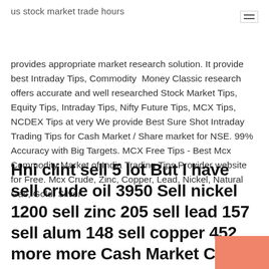us stock market trade hours
provides appropriate market research solution. It provide best Intraday Tips, Commodity  Money Classic research offers accurate and well researched Stock Market Tips, Equity Tips, Intraday Tips, Nifty Future Tips, MCX Tips, NCDEX Tips at very We provide Best Sure Shot Intraday Trading Tips for Cash Market / Share market for NSE. 99% Accuracy with Big Targets. MCX Free Tips - Best Mcx Commodity Market of India Trading Tips Provider website for Free. Mcx Crude, Zinc, Copper, Lead, Nickel, Natural Gas, Gold, Silver
Hni clint sell 5 lot But I have sell crude oil 3950 Sell nickel 1200 sell zinc 205 sell lead 157 sell alum 148 sell copper 452 more more Cash Market Calls - Date :